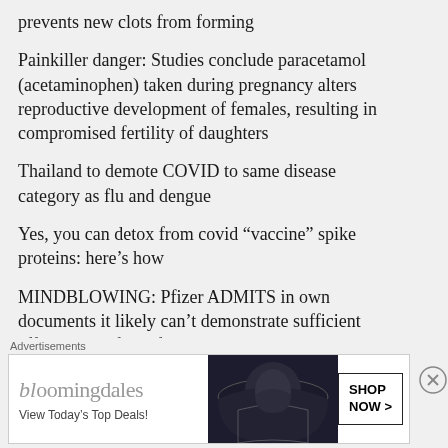prevents new clots from forming
Painkiller danger: Studies conclude paracetamol (acetaminophen) taken during pregnancy alters reproductive development of females, resulting in compromised fertility of daughters
Thailand to demote COVID to same disease category as flu and dengue
Yes, you can detox from covid “vaccine” spike proteins: here’s how
MINDBLOWING: Pfizer ADMITS in own documents it likely can’t demonstrate sufficient efficacy or safety of its COVID-19
Advertisements
[Figure (screenshot): Bloomingdale's advertisement banner with logo, 'View Today's Top Deals!' tagline, model wearing wide brim hat, and 'SHOP NOW >' button]